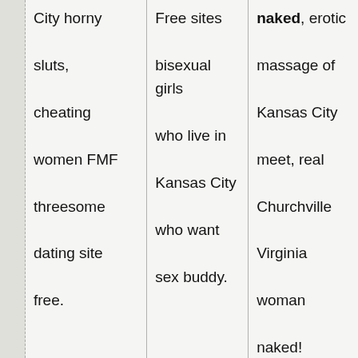| City horny sluts, cheating women FMF threesome dating site free.

Women with very hairy | Free sites bisexual girls who live in Kansas City who want sex buddy. | naked, erotic massage of Kansas City meet, real Churchville Virginia woman naked! |